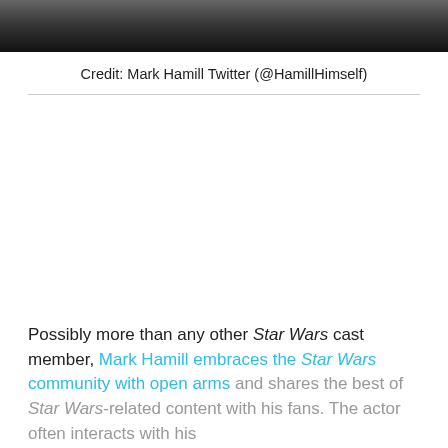[Figure (photo): Dark photograph strip at top of page, appears to show people in a dimly lit setting]
Credit: Mark Hamill Twitter (@HamillHimself)
Possibly more than any other Star Wars cast member, Mark Hamill embraces the Star Wars community with open arms and shares the best of Star Wars-related content with his fans. The actor often interacts with his